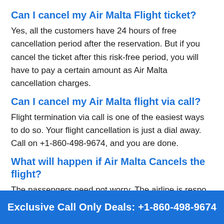Can I cancel my Air Malta Flight ticket?
Yes, all the customers have 24 hours of free cancellation period after the reservation. But if you cancel the ticket after this risk-free period, you will have to pay a certain amount as Air Malta cancellation charges.
Can I cancel my Air Malta flight via call?
Flight termination via call is one of the easiest ways to do so. Your flight cancellation is just a dial away. Call on +1-860-498-9674, and you are done.
What will happen if Air Malta Cancels the flight?
The passengers need not worry. The airline is responsible for the passengers in such case...
Exclusive Call Only Deals: +1-860-498-9674